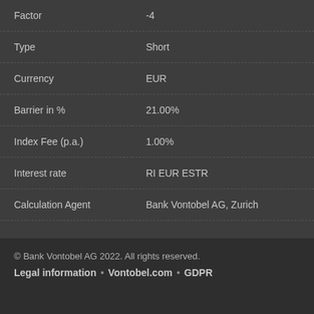| Field | Value |
| --- | --- |
| Factor | -4 |
| Type | Short |
| Currency | EUR |
| Barrier in % | 21.00% |
| Index Fee (p.a.) | 1.00% |
| Interest rate | RI EUR ESTR |
| Calculation Agent | Bank Vontobel AG, Zurich |
© Bank Vontobel AG 2022. All rights reserved.
Legal information • Vontobel.com • GDPR